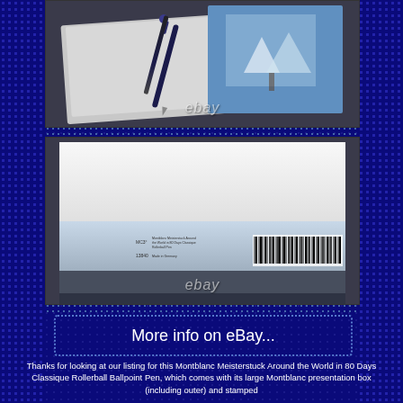[Figure (photo): Photo of a dark blue fountain pen resting on a silver/grey notebook or folio, with an artistic winter scene visible in the background. eBay watermark visible.]
[Figure (photo): Photo of a white and light blue Montblanc product box showing label text and barcode on the side. eBay watermark visible.]
More info on eBay...
Thanks for looking at our listing for this Montblanc Meisterstuck Around the World in 80 Days Classique Rollerball Ballpoint Pen, which comes with its large Montblanc presentation box (including outer) and stamped